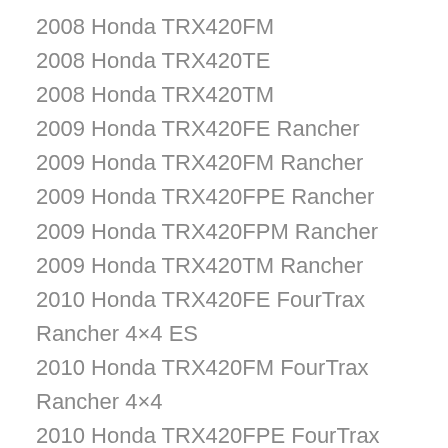2008 Honda TRX420FM
2008 Honda TRX420TE
2008 Honda TRX420TM
2009 Honda TRX420FE Rancher
2009 Honda TRX420FM Rancher
2009 Honda TRX420FPE Rancher
2009 Honda TRX420FPM Rancher
2009 Honda TRX420TM Rancher
2010 Honda TRX420FE FourTrax Rancher 4×4 ES
2010 Honda TRX420FM FourTrax Rancher 4×4
2010 Honda TRX420FPE FourTrax Rancher 4×4 ES w Power Steering
2010 Honda TRX420FPM FourTrax Rancher 4×4 w Power Steering
2010 Honda TRX420TM FourTrax Rancher